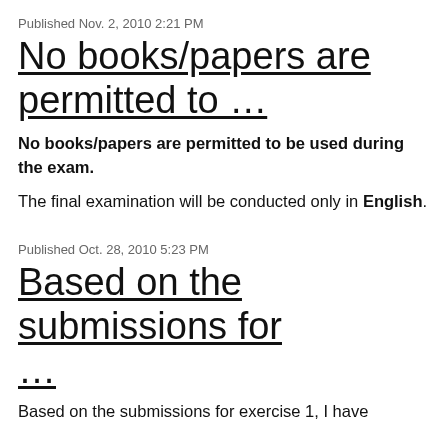Published Nov. 2, 2010 2:21 PM
No books/papers are permitted to …
No books/papers are permitted to be used during the exam.
The final examination will be conducted only in English.
Published Oct. 28, 2010 5:23 PM
Based on the submissions for …
Based on the submissions for exercise 1, I have